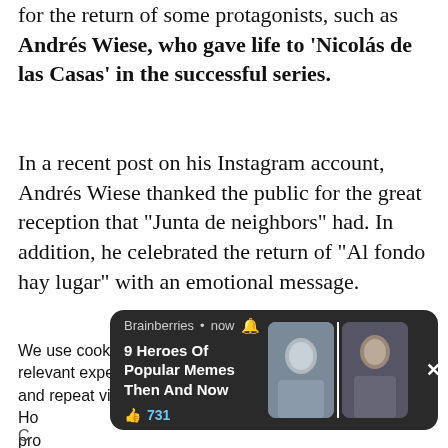for the return of some protagonists, such as Andrés Wiese, who gave life to 'Nicolás de las Casas' in the successful series.
In a recent post on his Instagram account, Andrés Wiese thanked the public for the great reception that "Junta de neighbors" had. In addition, he celebrated the return of "Al fondo hay lugar" with an emotional message.
We use cookies on our website to give you the most relevant experience by remembering your preferences and repeat visits. By clicking "Accept All"... Ho... pro...
[Figure (screenshot): A Brainberries push notification overlay showing '9 Heroes Of Popular Memes Then And Now' with a thumbs up icon and 731 likes, with two circular images of women on the right side and an X close button.]